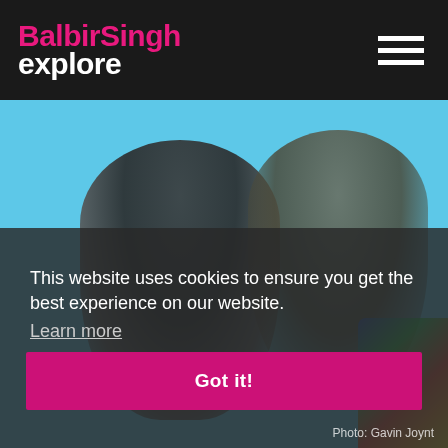BalbirSingh explore
[Figure (photo): Two men in conversation against a bright blue background, one facing the camera, one with back turned. Colorful artwork visible in background bottom right.]
This website uses cookies to ensure you get the best experience on our website.
Learn more
Got it!
Photo: Gavin Joynt